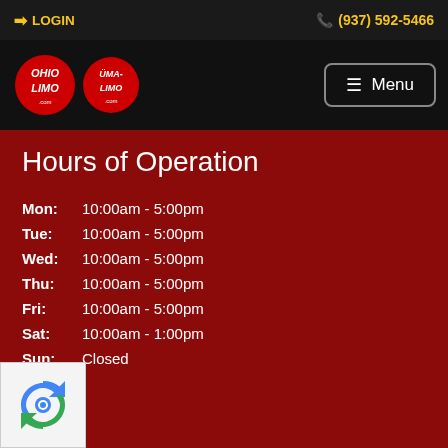LOGIN  (937) 592-5466
[Figure (logo): Ohio Limo and Uma-Limo logos with Menu button]
Hours of Operation
| Day | Hours |
| --- | --- |
| Mon: | 10:00am - 5:00pm |
| Tue: | 10:00am - 5:00pm |
| Wed: | 10:00am - 5:00pm |
| Thu: | 10:00am - 5:00pm |
| Fri: | 10:00am - 5:00pm |
| Sat: | 10:00am - 1:00pm |
| Sun: | Closed |
[Figure (other): reCAPTCHA widget]